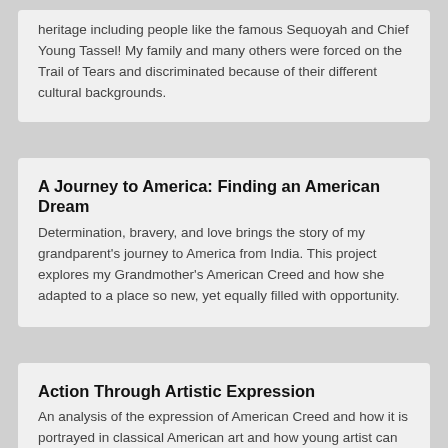heritage including people like the famous Sequoyah and Chief Young Tassel! My family and many others were forced on the Trail of Tears and discriminated because of their different cultural backgrounds.
A Journey to America: Finding an American Dream
Determination, bravery, and love brings the story of my grandparent's journey to America from India. This project explores my Grandmother's American Creed and how she adapted to a place so new, yet equally filled with opportunity.
Action Through Artistic Expression
An analysis of the expression of American Creed and how it is portrayed in classical American art and how young artist can use their talents to show their creed in a similar manner.